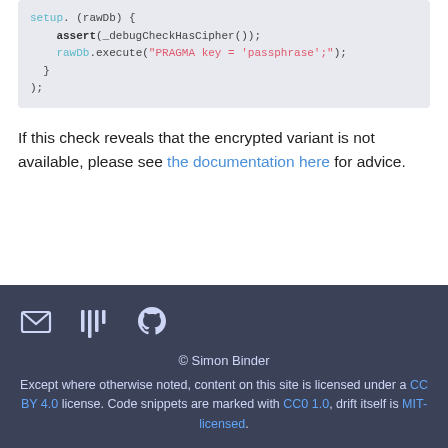[Figure (screenshot): Code block showing C++ code with setup function, assert call and rawDb.execute with PRAGMA key statement]
If this check reveals that the encrypted variant is not available, please see the documentation here for advice.
© Simon Binder
Except where otherwise noted, content on this site is licensed under a CC BY 4.0 license. Code snippets are marked with GC0 1.0, drift itself is MIT-licensed.